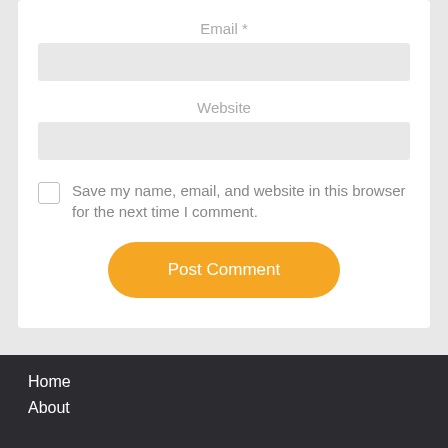Email *
Website
Save my name, email, and website in this browser for the next time I comment.
Post Comment
Home
About